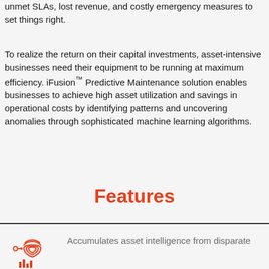unmet SLAs, lost revenue, and costly emergency measures to set things right.
To realize the return on their capital investments, asset-intensive businesses need their equipment to be running at maximum efficiency. iFusion™ Predictive Maintenance solution enables businesses to achieve high asset utilization and savings in operational costs by identifying patterns and uncovering anomalies through sophisticated machine learning algorithms.
Features
Accumulates asset intelligence from disparate